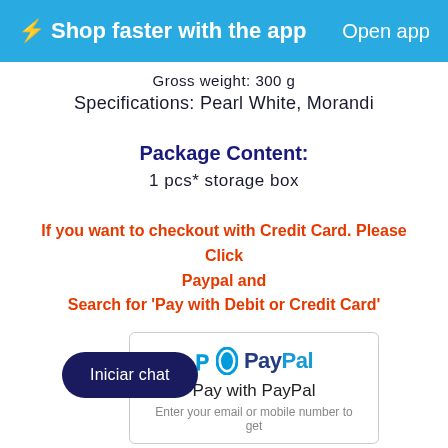⚡Shop faster with the app   Open app
Gross weight: 300 g
Specifications: Pearl White, Morandi
Package Content:
1 pcs* storage box
If you want to checkout with Credit Card. Please Click Paypal and Search for 'Pay with Debit or Credit Card'
[Figure (screenshot): PayPal payment widget showing PayPal logo and 'Pay with PayPal' text with 'Enter your email or mobile number to get' prompt]
Iniciar chat